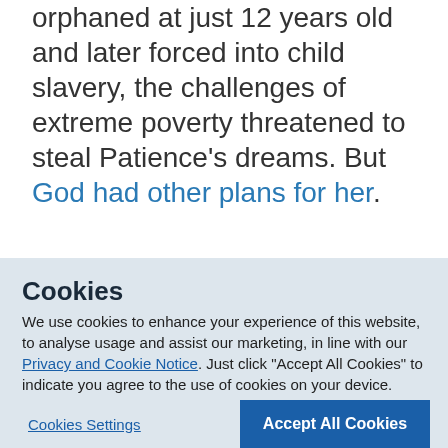orphaned at just 12 years old and later forced into child slavery, the challenges of extreme poverty threatened to steal Patience's dreams. But God had other plans for her.
Cookies
We use cookies to enhance your experience of this website, to analyse usage and assist our marketing, in line with our Privacy and Cookie Notice. Just click "Accept All Cookies" to indicate you agree to the use of cookies on your device.
Cookies Settings
Accept All Cookies